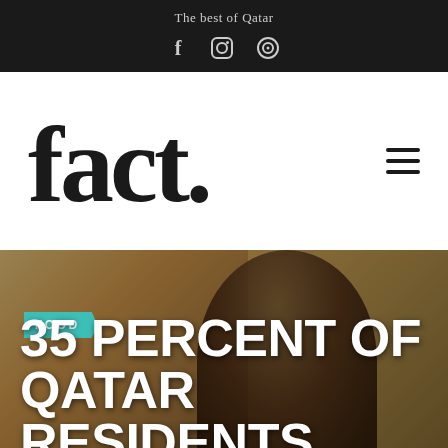The best of Qatar
[Figure (logo): fact. magazine logo in bold serif font]
[Figure (photo): Woman in head covering standing in a warmly lit interior room, photo used as article hero image]
FOOD
35 PERCENT OF QATAR RESIDENTS